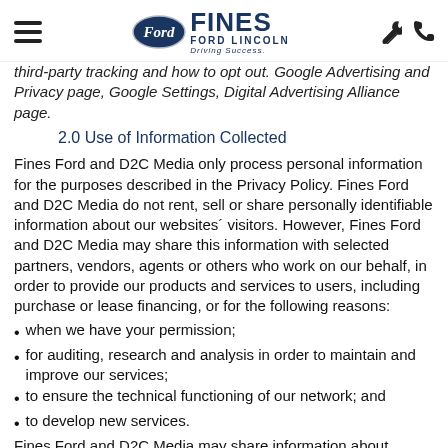FINES FORD LINCOLN Driving Success.
third-party tracking and how to opt out. Google Advertising and Privacy page, Google Settings, Digital Advertising Alliance page.
2.0 Use of Information Collected
Fines Ford and D2C Media only process personal information for the purposes described in the Privacy Policy. Fines Ford and D2C Media do not rent, sell or share personally identifiable information about our websites´ visitors. However, Fines Ford and D2C Media may share this information with selected partners, vendors, agents or others who work on our behalf, in order to provide our products and services to users, including purchase or lease financing, or for the following reasons:
when we have your permission;
for auditing, research and analysis in order to maintain and improve our services;
to ensure the technical functioning of our network; and
to develop new services.
Fines Ford and D2C Media may share information about